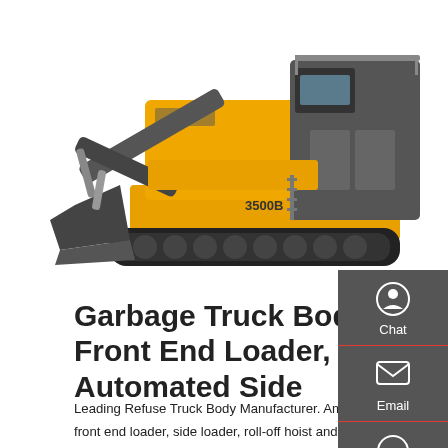[Figure (photo): Large yellow and black mining/heavy excavator machine on crawler tracks, front-facing with excavator arm and bucket visible, on white background]
Garbage Truck Body, Front End Loader, Automated Side
Leading Refuse Truck Body Manufacturer. Amrep is a premier front end loader, side loader, roll-off hoist and trailer manufacturer for the refuse industry. On the forefront of refuse technology, our company has capitalized on its knowledge to introduce numerous innovations that have since become